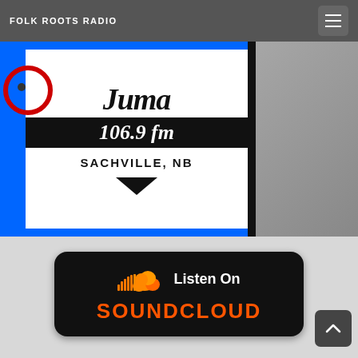FOLK ROOTS RADIO
[Figure (logo): Radio station logo for CHMA 106.9 FM, Sackville NB, partially cropped, showing blue border, italic script station name, frequency in white on black band, city name, and downward-pointing arrow.]
[Figure (logo): SoundCloud 'Listen On SoundCloud' badge button with orange SoundCloud cloud icon and orange SOUNDCLOUD text on dark background.]